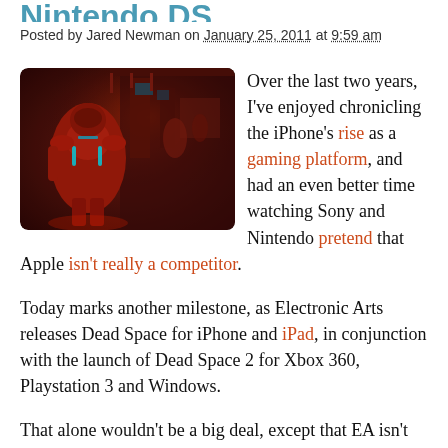Nintendo DS
Posted by Jared Newman on January 25, 2011 at 9:59 am
[Figure (screenshot): A dark sci-fi game screenshot showing a character in red armor in a dimly lit, industrial environment with red lighting — Dead Space for iPhone]
Over the last two years, I've enjoyed chronicling the iPhone's rise as a gaming platform, and had an even better time watching Sony and Nintendo pretend that Apple isn't really a competitor.
Today marks another milestone, as Electronic Arts releases Dead Space for iPhone and iPad, in conjunction with the launch of Dead Space 2 for Xbox 360, Playstation 3 and Windows.
That alone wouldn't be a big deal, except that EA isn't releasing a portable version of Dead Space for